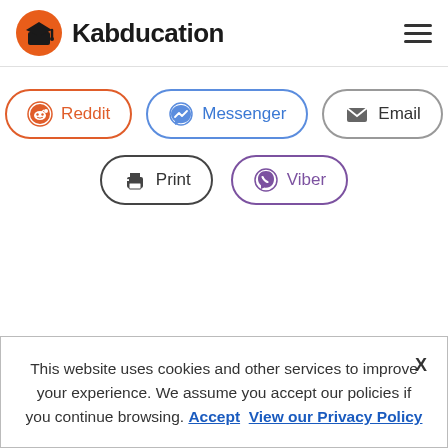Kabducation
[Figure (screenshot): Share buttons: Reddit (orange border), Messenger (blue border), Email (gray border), Print (dark border), Viber (purple border)]
This website uses cookies and other services to improve your experience. We assume you accept our policies if you continue browsing. Accept View our Privacy Policy